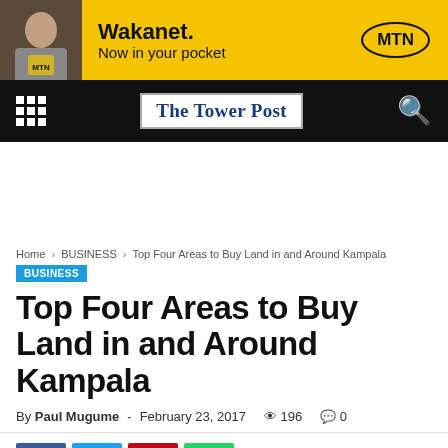[Figure (other): MTN Wakanet advertisement banner with yellow background, person carrying MTN bag on left, 'Wakanet. Now in your pocket' text in center, MTN logo oval on right]
The Tower Post — navigation bar with grid menu icon, newspaper logo, and search icon
Home › BUSINESS › Top Four Areas to Buy Land in and Around Kampala
BUSINESS
Top Four Areas to Buy Land in and Around Kampala
By Paul Mugume - February 23, 2017  196  0